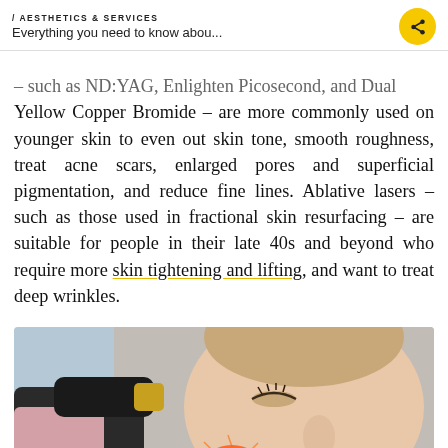/ AESTHETICS & SERVICES
Everything you need to know abou...
– such as ND:YAG, Enlighten Picosecond, and Dual Yellow Copper Bromide – are more commonly used on younger skin to even out skin tone, smooth roughness, treat acne scars, enlarged pores and superficial pigmentation, and reduce fine lines. Ablative lasers – such as those used in fractional skin resurfacing – are suitable for people in their late 40s and beyond who require more skin tightening and lifting, and want to treat deep wrinkles.
[Figure (photo): A woman with closed eyes receiving a laser skin treatment. A gloved practitioner holds a laser device near her face, with a visible red laser light applied to the jaw area. The background is light blue.]